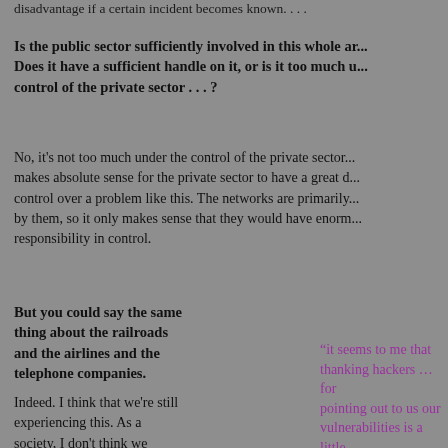disadvantage if a certain incident becomes known. . . .
Is the public sector sufficiently involved in this whole ar... Does it have a sufficient handle on it, or is it too much under control of the private sector . . . ?
No, it's not too much under the control of the private sector... makes absolute sense for the private sector to have a great deal of control over a problem like this. The networks are primarily owned by them, so it only makes sense that they would have enormous responsibility in control.
But you could say the same thing about the railroads and the airlines and the telephone companies.
Indeed. I think that we're still experiencing this. As a society, I don't think we know for sure what all the answers are going to be. What is clear to me is that, whatever your perspective on
“it seems to me that thanking hackers …for pointing out to us our vulnerabilities is a little bit like sending thank-notes to burglars for pointing out the infirmities of our physical alarms